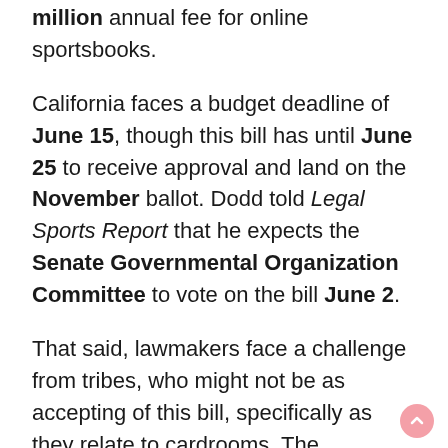million annual fee for online sportsbooks.
California faces a budget deadline of June 15, though this bill has until June 25 to receive approval and land on the November ballot. Dodd told Legal Sports Report that he expects the Senate Governmental Organization Committee to vote on the bill June 2.
That said, lawmakers face a challenge from tribes, who might not be as accepting of this bill, specifically as they relate to cardrooms. The proposed legislation would effectively legalize designated-player games after tribes have long attacked what are now illegal operations.